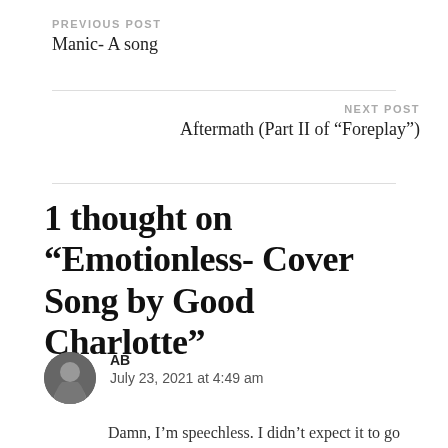PREVIOUS POST
Manic- A song
NEXT POST
Aftermath (Part II of “Foreplay”)
1 thought on “Emotionless- Cover Song by Good Charlotte”
AB
July 23, 2021 at 4:49 am
Damn, I’m speechless. I didn’t expect it to go down like this, this is so sad. I feel so so sorry for you and may his soul rest in peace. Deep down I